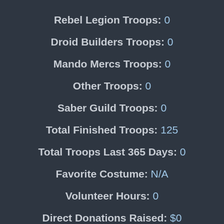Rebel Legion Troops: 0
Droid Builders Troops: 0
Mando Mercs Troops: 0
Other Troops: 0
Saber Guild Troops: 0
Total Finished Troops: 125
Total Troops Last 365 Days: 0
Favorite Costume: N/A
Volunteer Hours: 0
Direct Donations Raised: $0
Indirect Donations Raised: $0